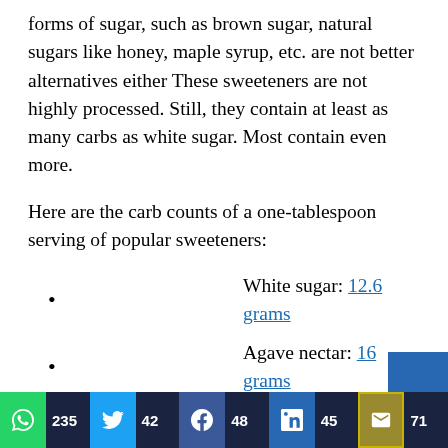forms of sugar, such as brown sugar, natural sugars like honey, maple syrup, etc. are not better alternatives either These sweeteners are not highly processed. Still, they contain at least as many carbs as white sugar. Most contain even more.
Here are the carb counts of a one-tablespoon serving of popular sweeteners:
White sugar: 12.6 grams
Agave nectar: 16 grams
Honey: 17 grams
Maple syrup: 13 grams
People with diabetes should take their diet seri...
Share counts: WhatsApp 235, Twitter 42, Facebook 48, LinkedIn 45, Email 71